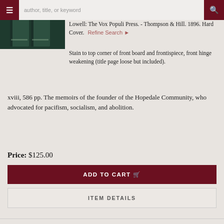[Figure (photo): Green hardcover books photographed against light background]
author, title, or keyword [search bar with hamburger menu and search button]
and Narrative of His Life from
Lowell: The Vox Populi Press. - Thompson & Hill. 1896. Hard Cover.
Refine Search
Stain to top corner of front board and frontispiece, front hinge weakening (title page loose but included).
xviii, 586 pp. The memoirs of the founder of the Hopedale Community, who advocated for pacifism, socialism, and abolition.
Price: $125.00
ADD TO CART
ITEM DETAILS